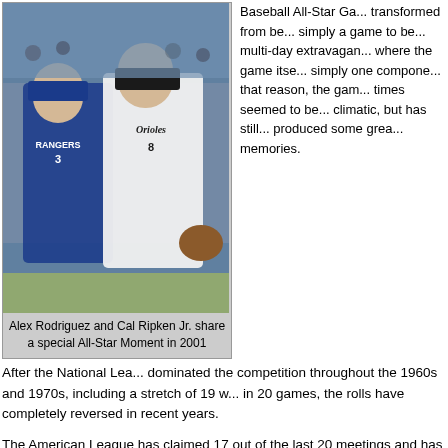[Figure (photo): Alex Rodriguez and Cal Ripken Jr. sharing a special All-Star moment in 2001, both in baseball uniforms on the field]
Alex Rodriguez and Cal Ripken Jr. share a special All-Star Moment in 2001
Baseball All-Star Ga... transformed from be... simply a game to be... multi-day extravagan... where the game itse... simply one compone... that reason, the gam... times seemed to be... climatic, but has still... produced some grea... memories.
After the National Lea... dominated the competition throughout the 1960s and 1970s, including a stretch of 19 w... in 20 games, the rolls have completely reversed in recent years.
The American League has claimed 17 out of the last 20 meetings and has not lost to th... National League since 1996.
In this final installment of the three part series in which we have reminisced about som... great moments, games and players in All-Star history, we look at the most memorable ... the last two decades.
July 10, 1990 (Wrigley Field, Chicago)